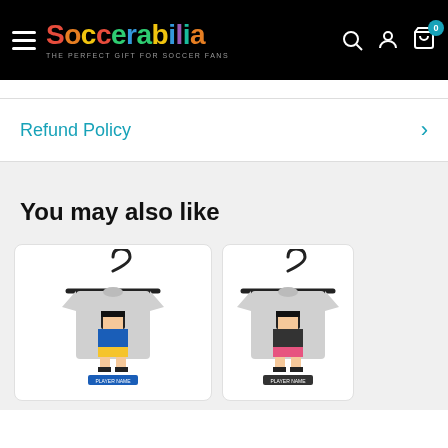Soccerabilia — THE PERFECT GIFT FOR SOCCER FANS
Refund Policy
You may also like
[Figure (photo): Gray t-shirt on hanger with pixel-art soccer player graphic in blue and yellow, displayed on white background inside a product card]
[Figure (photo): Gray t-shirt on hanger with pixel-art soccer player graphic, partially visible on the right side of the screen]